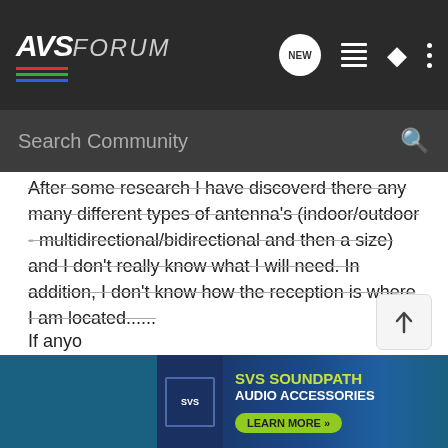[Figure (screenshot): AVSForum website header with logo, NEW button, list icon, user icon, and more options icon on dark background]
[Figure (screenshot): Search Community input bar with magnifying glass icon on dark background]
After some research I have discoverd there any many different types of antenna's (indoor/outdoor - multidirectional/bidirectional and then a size) and I don't really know what I will need. In addition, I don't know how the reception is where I am located......
My address is:
32621 36th Ave. SW
Federal Way, WA 98023
If anyo
[Figure (screenshot): SVS SoundPath Audio Accessories advertisement banner with logo, headline text in yellow-green, and Learn More button]